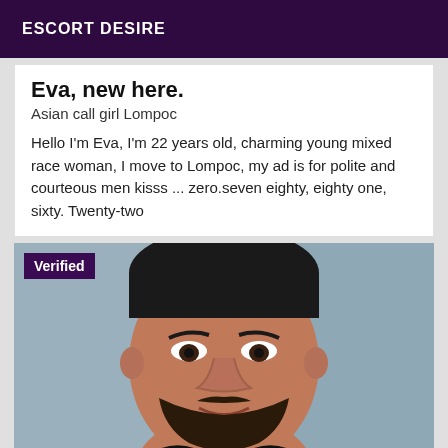ESCORT DESIRE
Eva, new here.
Asian call girl Lompoc
Hello I'm Eva, I'm 22 years old, charming young mixed race woman, I move to Lompoc, my ad is for polite and courteous men kisss ... zero.seven eighty, eighty one, sixty. Twenty-two
[Figure (photo): Close-up photo of a man with dark hair and beard, with a 'Verified' badge in the top-left corner]